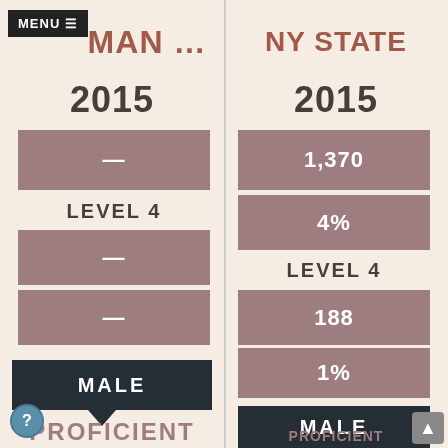MAN ... 2015
NY STATE 2015
—
LEVEL 4
—
—
MALE
PROFICIENT
1,370
4%
LEVEL 4
188
1%
MALE
PROFICIENT